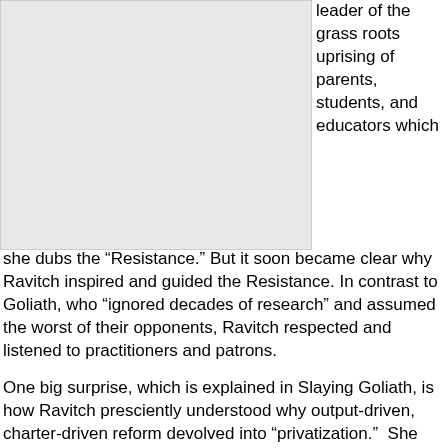[Figure (photo): Image placeholder occupying the upper-left portion of the page]
leader of the grass roots uprising of parents, students, and educators which she dubs the “Resistance.” But it soon became clear why Ravitch inspired and guided the Resistance. In contrast to Goliath, who “ignored decades of research” and assumed the worst of their opponents, Ravitch respected and listened to practitioners and patrons.
One big surprise, which is explained in Slaying Goliath, is how Ravitch presciently understood why output-driven, charter-driven reform devolved into “privatization.” She had firsthand experience with the hubris of the Billionaires Boys Club, understanding the danger of their desire to hurriedly “scale up” transformational change. And being an accomplished scholar, she had insights into how top-down technocrats’ embrace of behaviorism in the tradition of Edward Thorndike and B.F. Skinner, led to their commitment to “rigidly prescribed conditioning via punishments and